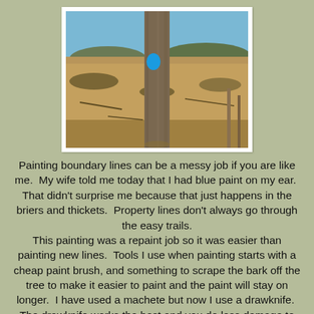[Figure (photo): Outdoor photo of a tree trunk with a bright blue paint mark on it, surrounded by dry brush and scrubland under a blue sky.]
Painting boundary lines can be a messy job if you are like me.  My wife told me today that I had blue paint on my ear.  That didn't surprise me because that just happens in the briers and thickets.  Property lines don't always go through the easy trails. This painting was a repaint job so it was easier than painting new lines.  Tools I use when painting starts with a cheap paint brush, and something to scrape the bark off the tree to make it easier to paint and the paint will stay on longer.  I have used a machete but now I use a drawknife.  The drawknife works the best and you do less damage to the witness tree.  Keeping your property marked has many advantages.  It helps keep hunters safer by staying on the property they have permission to hunt and other hunters on